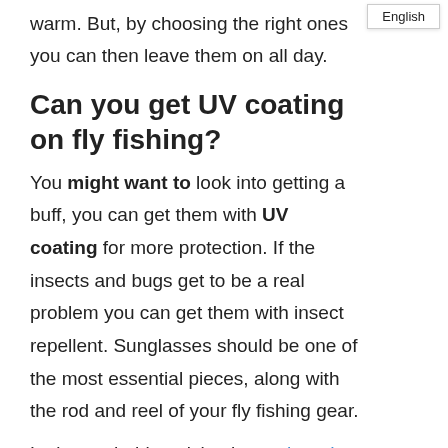warm. But, by choosing the right ones you can then leave them on all day.
Can you get UV coating on fly fishing?
You might want to look into getting a buff, you can get them with UV coating for more protection. If the insects and bugs get to be a real problem you can get them with insect repellent. Sunglasses should be one of the most essential pieces, along with the rod and reel of your fly fishing gear.
Let's watch this article about when do nevada fishing licenses expire. If you have any questions please ask them in the comment section.